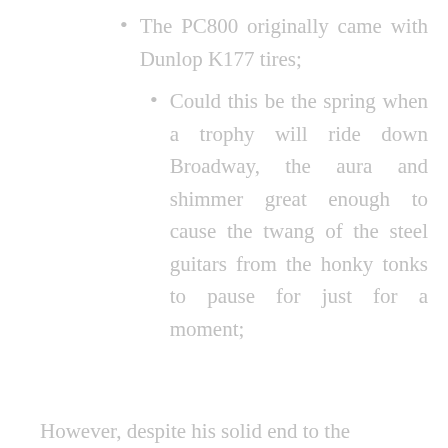The PC800 originally came with Dunlop K177 tires;
Could this be the spring when a trophy will ride down Broadway, the aura and shimmer great enough to cause the twang of the steel guitars from the honky tonks to pause for just for a moment;
However, despite his solid end to the